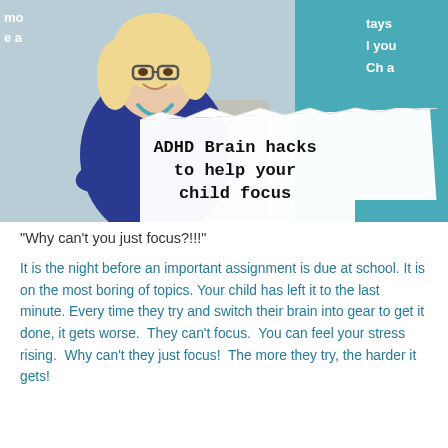[Figure (photo): Smiling blonde woman with glasses wearing a blue top and turquoise necklace, sitting in a wicker chair, holding a white sign that reads 'ADHD Brain hacks to help your child focus'. Teal background. Partial text visible on left edge and right side.]
"Why can't you just focus?!!!"
It is the night before an important assignment is due at school. It is on the most boring of topics. Your child has left it to the last minute. Every time they try and switch their brain into gear to get it done, it gets worse.  They can't focus.  You can feel your stress rising.  Why can't they just focus!  The more they try, the harder it gets!